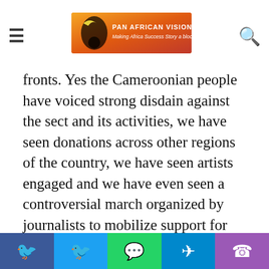Pan African Visions — Making Africa Success Story a bloc
fronts. Yes the Cameroonian people have voiced strong disdain against the sect and its activities, we have seen donations across other regions of the country, we have seen artists engaged and we have even seen a controversial march organized by journalists to mobilize support for the troops and condemn the sect . With an attack like the one that took place in Maroua, President Biya ought to come out swinging, how about a televised address to the nation? Is a communiqué the best way the leader could send a message to the sect?
Following the communiqué was a visit to Maroua by the Minister of Defence representing the Head of State. While the minister may be in charge of
Facebook | Twitter | WhatsApp | Telegram | Phone